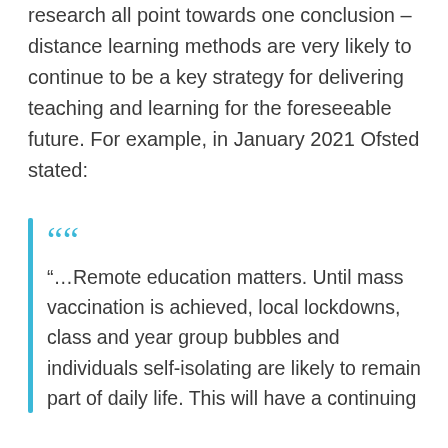research all point towards one conclusion – distance learning methods are very likely to continue to be a key strategy for delivering teaching and learning for the foreseeable future. For example, in January 2021 Ofsted stated:
"…Remote education matters. Until mass vaccination is achieved, local lockdowns, class and year group bubbles and individuals self-isolating are likely to remain part of daily life. This will have a continuing